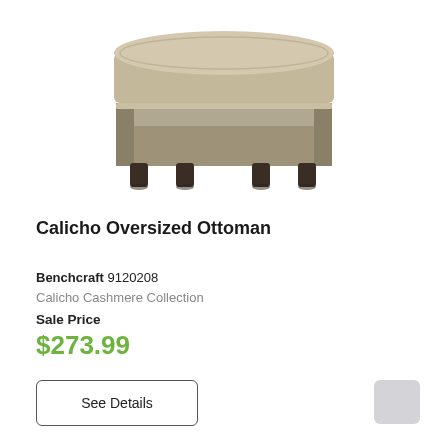[Figure (photo): A gray upholstered oversized ottoman with dark wooden block feet, photographed from a slightly elevated angle on a white background.]
Calicho Oversized Ottoman
Benchcraft 9120208
Calicho Cashmere Collection
Sale Price
$273.99
See Details